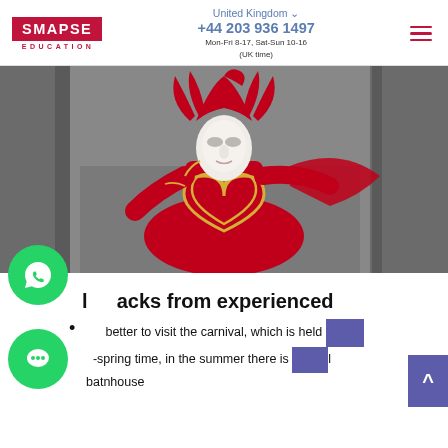SMAPSE EDUCATION | United Kingdom | +44 203 936 1497 | Mon-Fri 8-17, Sat-Sun 10-16 (UK time)
[Figure (photo): A person dressed in an elaborate red and gold Venetian carnival costume with a white mask, feathered headdress, and heart-shaped chest decoration, posed against a grey stone background.]
Li...acks from experienced
li... better to visit the carnival, which is held in the n-spring time, in the summer there is a real batnhouse